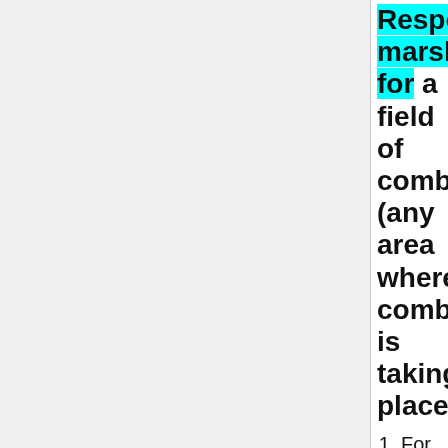Responsible marshal for a field of combat (any area where combat is taking place)
For every area where armoured combat is taking